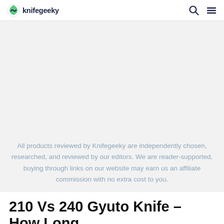knifegeeky
[Figure (other): Advertisement or empty banner placeholder area with light gray background]
All products reviewed by Knifegeeky are independently chosen, researched, and reviewed by our editors. We are reader-supported, buying through links on our website may earn us an affiliate commission with no extra cost to you.
210 Vs 240 Gyuto Knife – How Long Should a Gyuto Be?